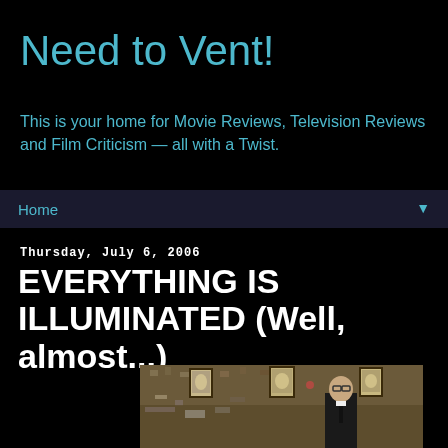Need to Vent!
This is your home for Movie Reviews, Television Reviews and Film Criticism — all with a Twist.
Home ▼
Thursday, July 6, 2006
EVERYTHING IS ILLUMINATED (Well, almost...)
[Figure (photo): A young man in a dark suit and glasses standing against a wall covered in various collected items, photographs, and memorabilia.]